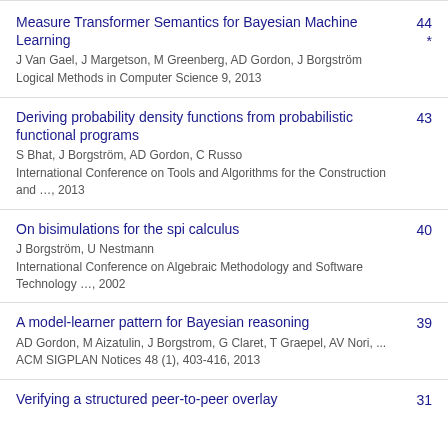Measure Transformer Semantics for Bayesian Machine Learning | J Van Gael, J Margetson, M Greenberg, AD Gordon, J Borgström | Logical Methods in Computer Science 9, 2013 | 44
Deriving probability density functions from probabilistic functional programs | S Bhat, J Borgström, AD Gordon, C Russo | International Conference on Tools and Algorithms for the Construction and …, 2013 | 43
On bisimulations for the spi calculus | J Borgström, U Nestmann | International Conference on Algebraic Methodology and Software Technology …, 2002 | 40
A model-learner pattern for Bayesian reasoning | AD Gordon, M Aizatulin, J Borgstrom, G Claret, T Graepel, AV Nori, ... | ACM SIGPLAN Notices 48 (1), 403-416, 2013 | 39
Verifying a structured peer-to-peer overlay | 31